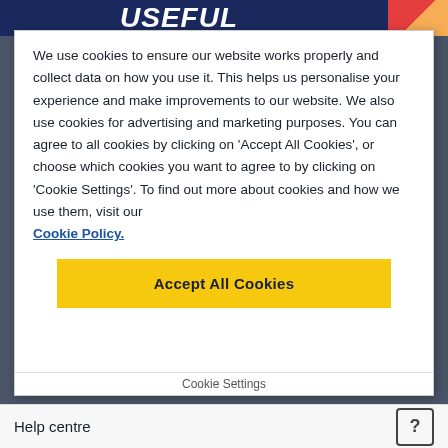Useful
We use cookies to ensure our website works properly and collect data on how you use it. This helps us personalise your experience and make improvements to our website. We also use cookies for advertising and marketing purposes. You can agree to all cookies by clicking on 'Accept All Cookies', or choose which cookies you want to agree to by clicking on 'Cookie Settings'. To find out more about cookies and how we use them, visit our Cookie Policy.
Accept All Cookies
Cookie Settings
Help centre